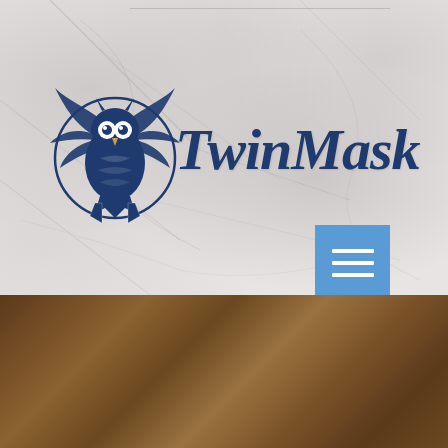[Figure (logo): Twin Mask brand logo featuring an owl with wings spread inside a circle, alongside cursive 'Twin Mask' text in navy blue, on a white marble background]
[Figure (photo): Blurred warm brown/amber photo background, possibly interior setting with bokeh effect]